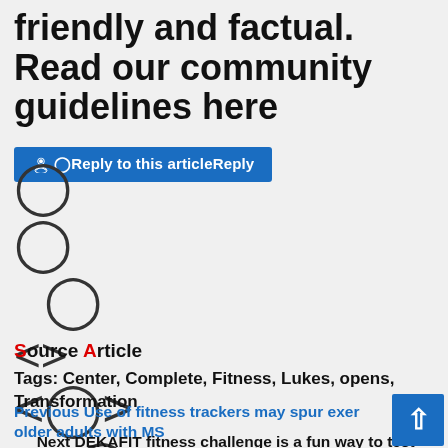friendly and factual. Read our community guidelines here
[Figure (other): Reply to this article button (blue button with user icon)]
[Figure (other): Series of user/avatar icons and code bracket symbols arranged vertically]
Source Article
Tags: Center, Complete, Fitness, Lukes, opens, Transformation
Previous Use of fitness trackers may spur exer older adults with MS
Next DEKAFIT fitness challenge is a fun way to test